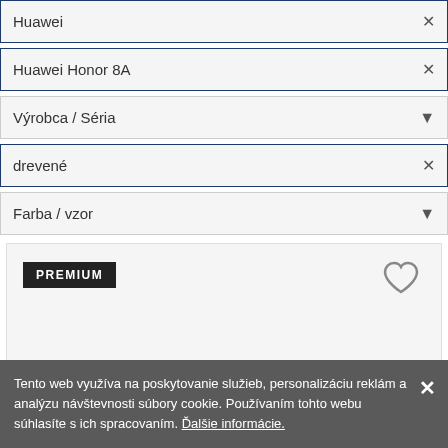Huawei ×
Huawei Honor 8A ×
Výrobca / Séria ▼
drevené ×
Farba / vzor ▼
[Figure (screenshot): Product card with PREMIUM badge and heart icon on gray background]
Tento web využíva na poskytovanie služieb, personalizáciu reklám a analýzu návštevnosti súbory cookie. Používaním tohto webu súhlasíte s ich spracovaním. Ďalšie informácie.